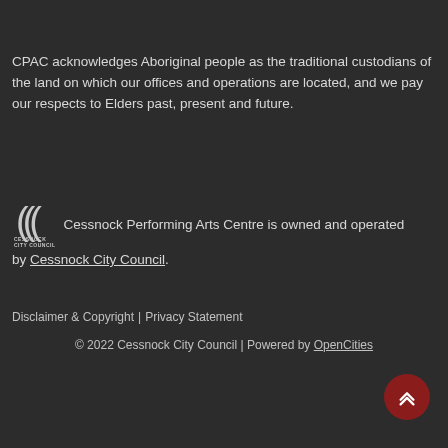CPAC acknowledges Aboriginal people as the traditional custodians of the land on which our offices and operations are located, and we pay our respects to Elders past, present and future.
Cessnock Performing Arts Centre is owned and operated by Cessnock City Council.
Disclaimer & Copyright | Privacy Statement
© 2022 Cessnock City Council | Powered by OpenCities